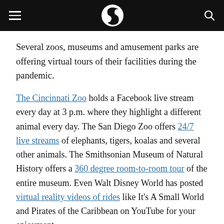[Navigation bar with hamburger menu, S logo, search icon]
Several zoos, museums and amusement parks are offering virtual tours of their facilities during the pandemic.
The Cincinnati Zoo holds a Facebook live stream every day at 3 p.m. where they highlight a different animal every day. The San Diego Zoo offers 24/7 live streams of elephants, tigers, koalas and several other animals. The Smithsonian Museum of Natural History offers a 360 degree room-to-room tour of the entire museum. Even Walt Disney World has posted virtual reality videos of rides like It's A Small World and Pirates of the Caribbean on YouTube for your enjoyment.
Reilly Mullen is the news editor and can be reached at reilly.mullen@ubspectrum or on Twitter @ReillyMMullen